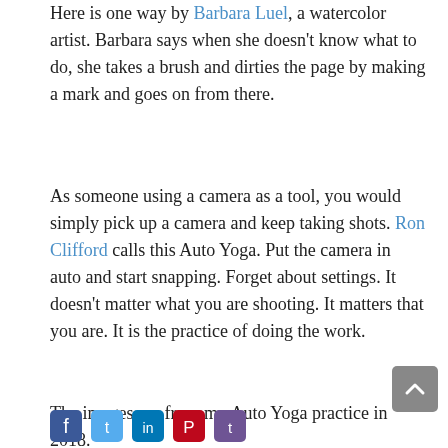Here is one way by Barbara Luel, a watercolor artist. Barbara says when she doesn't know what to do, she takes a brush and dirties the page by making a mark and goes on from there.
As someone using a camera as a tool, you would simply pick up a camera and keep taking shots. Ron Clifford calls this Auto Yoga. Put the camera in auto and start snapping. Forget about settings. It doesn't matter what you are shooting. It matters that you are. It is the practice of doing the work.
The images are from my Auto Yoga practice in 2018.
Hi I'm Jamuna Burry. 365 DAYS is my personal practice of shipping words and images.